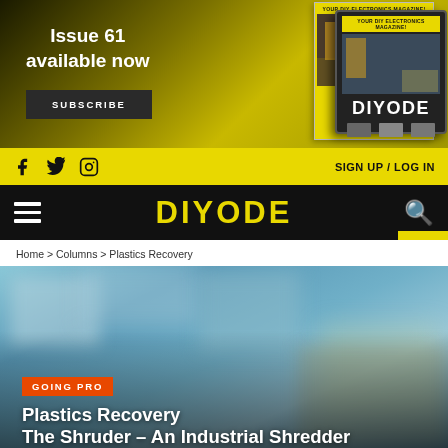Issue 61 available now
SUBSCRIBE
[Figure (illustration): DIYODE magazine covers shown on tablet and in print, with yellow branding and DIY electronics imagery]
SIGN UP / LOG IN
DIYODE
Home > Columns > Plastics Recovery
[Figure (photo): Blurred teal/blue background photo of plastic items with GOING PRO badge and article title overlay]
GOING PRO
Plastics Recovery
The Shruder - An Industrial Shredder